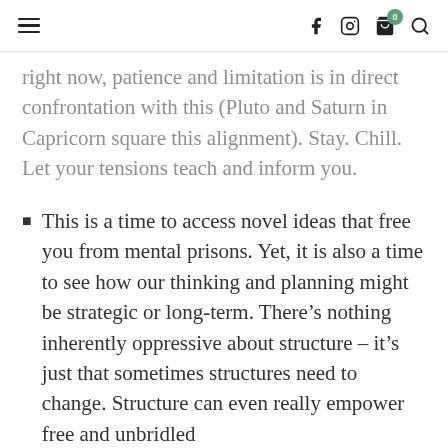navigation header with hamburger menu, social icons (Facebook, Instagram), cart (0), and search
right now, patience and limitation is in direct confrontation with this (Pluto and Saturn in Capricorn square this alignment). Stay. Chill. Let your tensions teach and inform you.
This is a time to access novel ideas that free you from mental prisons. Yet, it is also a time to see how our thinking and planning might be strategic or long-term. There’s nothing inherently oppressive about structure – it’s just that sometimes structures need to change. Structure can even really empower free and unbridled